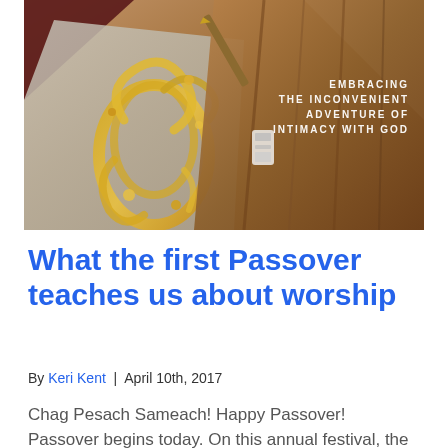[Figure (photo): Close-up photo of religious/Jewish items including an embroidered cloth with golden decorative pattern and a brown leather bag or strap, with white text overlay reading 'EMBRACING THE INCONVENIENT ADVENTURE OF INTIMACY WITH GOD']
What the first Passover teaches us about worship
By Keri Kent | April 10th, 2017
Chag Pesach Sameach! Happy Passover! Passover begins today. On this annual festival, the Jewish people